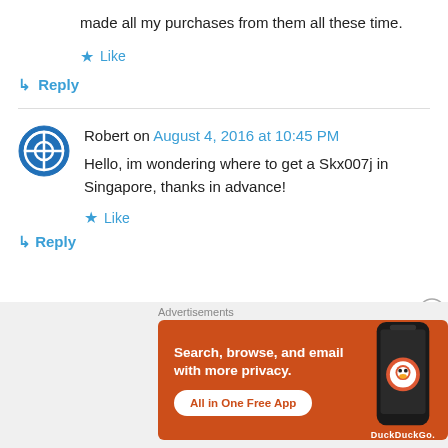made all my purchases from them all these time.
★ Like
↳ Reply
Robert on August 4, 2016 at 10:45 PM
Hello, im wondering where to get a Skx007j in Singapore, thanks in advance!
★ Like
↳ Reply
[Figure (other): DuckDuckGo advertisement banner: orange background with phone image and text 'Search, browse, and email with more privacy. All in One Free App']